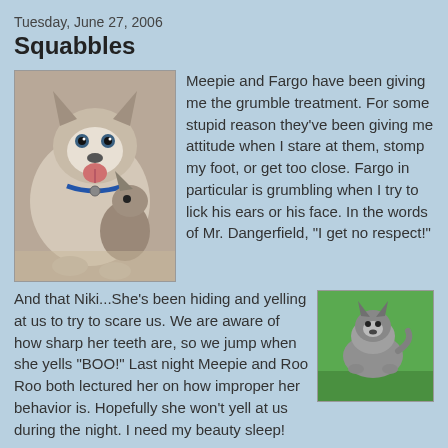Tuesday, June 27, 2006
Squabbles
[Figure (photo): Two husky dogs, one large with tongue out and one smaller, lying together on a floor]
Meepie and Fargo have been giving me the grumble treatment. For some stupid reason they've been giving me attitude when I stare at them, stomp my foot, or get too close. Fargo in particular is grumbling when I try to lick his ears or his face. In the words of Mr. Dangerfield, "I get no respect!"
And that Niki...She's been hiding and yelling at us to try to scare us. We are aware of how sharp her teeth are, so we jump when she yells "BOO!" Last night Meepie and Roo Roo both lectured her on how improper her behavior is. Hopefully she won't yell at us during the night. I need my beauty sleep!
[Figure (photo): A small husky dog standing on green grass, viewed from above/side]